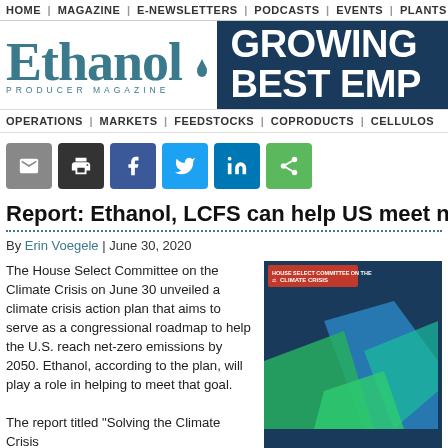HOME | MAGAZINE | E-NEWSLETTERS | PODCASTS | EVENTS | PLANTS
[Figure (logo): Ethanol Producer Magazine logo with teal text and water drop icon, next to dark navy banner reading GROWING BEST EMP...]
OPERATIONS | MARKETS | FEEDSTOCKS | COPRODUCTS | CELLULOS
[Figure (other): Social sharing buttons: email (grey), print (black), Facebook (blue), Twitter (light blue), LinkedIn (dark blue), share (green)]
Report: Ethanol, LCFS can help US meet net-ze
By Erin Voegele | June 30, 2020
The House Select Committee on the Climate Crisis on June 30 unveiled a climate crisis action plan that aims to serve as a congressional roadmap to help the U.S. reach net-zero emissions by 2050. Ethanol, according to the plan, will play a role in helping to meet that goal.
The report titled "Solving the Climate Crisis...
[Figure (photo): Climate Crisis report cover with geometric shapes in blue and green on navy background, House Select Committee on the Climate Crisis logo at top]